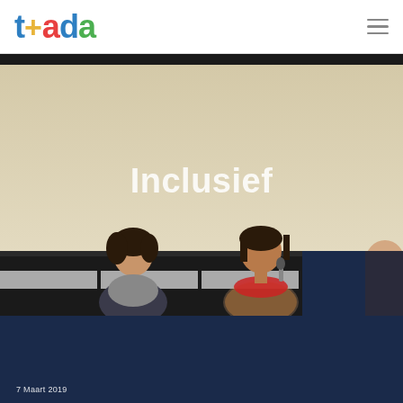[Figure (logo): tada logo with colorful letters: t in blue, plus sign in yellow, a in red, d in blue, a in green]
[Figure (photo): Photo of a presentation event. A projection screen displays the word 'Inclusief' in bold white text on a beige/cream background. Two women are seated at a table in the foreground — one looking up at the screen, the other speaking into a microphone wearing a red scarf. A third person is partially visible on the right edge. The lower portion shows a dark navy/dark blue panel or desk.]
7 Maart 2019